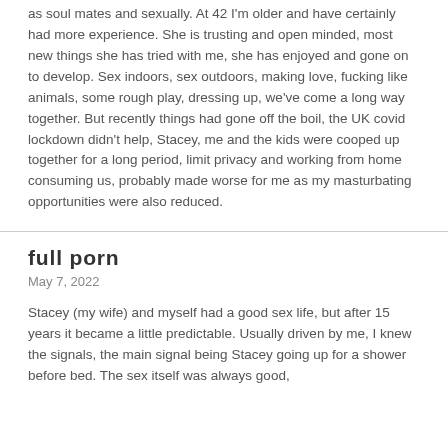as soul mates and sexually. At 42 I'm older and have certainly had more experience. She is trusting and open minded, most new things she has tried with me, she has enjoyed and gone on to develop. Sex indoors, sex outdoors, making love, fucking like animals, some rough play, dressing up, we've come a long way together. But recently things had gone off the boil, the UK covid lockdown didn't help, Stacey, me and the kids were cooped up together for a long period, limit privacy and working from home consuming us, probably made worse for me as my masturbating opportunities were also reduced.
full porn
May 7, 2022
Stacey (my wife) and myself had a good sex life, but after 15 years it became a little predictable. Usually driven by me, I knew the signals, the main signal being Stacey going up for a shower before bed. The sex itself was always good,